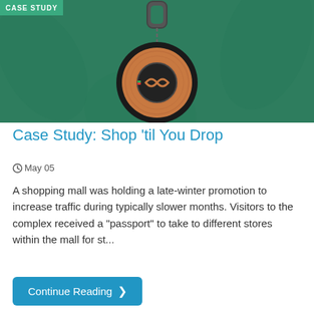[Figure (photo): A decorative keychain fob with a circular wooden medallion featuring a logo, hanging from a carabiner clip, on a green background. A 'CASE STUDY' badge appears in the top-left corner.]
Case Study: Shop 'til You Drop
May 05
A shopping mall was holding a late-winter promotion to increase traffic during typically slower months. Visitors to the complex received a "passport" to take to different stores within the mall for st...
Continue Reading ❯